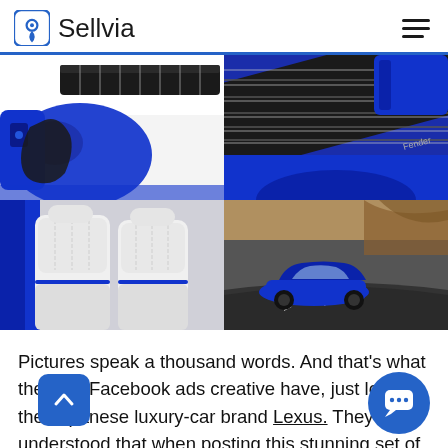Sellvia
[Figure (photo): Two-by-two grid of photos: top-left shows a blue Fender electric guitar body; top-right shows a blue Fender guitar neck/headstock close-up; bottom-left shows the white leather interior of a blue Lexus LC convertible; bottom-right shows a blue Lexus LC sportscar driving on a winding road in desert terrain.]
Pictures speak a thousand words. And that's what the best Facebook ads creative have, just look at the Japanese luxury-car brand Lexus. They understood that when posting this stunning set of photos of its vibrantly-blue LC sportscar. If you ever have a set of coordinating images from a photoshoot or ad